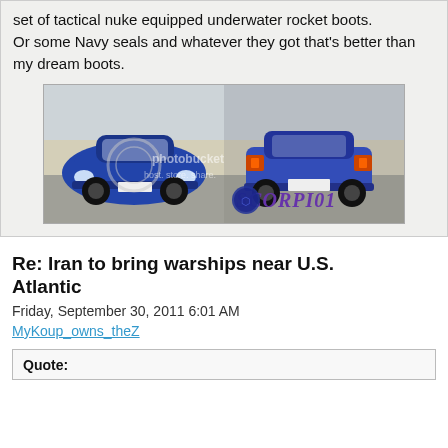set of tactical nuke equipped underwater rocket boots.
Or some Navy seals and whatever they got that's better than my dream boots.
[Figure (photo): Two blue cars side by side on a road, front and rear views. Watermark text 'photobucket host. store. share.' and 'SCORPI01' logo with scorpion graphic in bottom right corner.]
Re: Iran to bring warships near U.S. Atlantic
Friday, September 30, 2011 6:01 AM
MyKoup_owns_theZ
Quote: